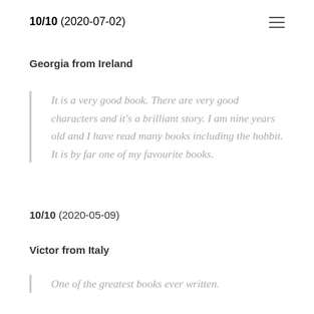10/10 (2020-07-02)
Georgia from Ireland
It is a very good book. There are very good characters and it's a brilliant story. I am nine years old and I have read many books including the hobbit. It is by far one of my favourite books.
10/10 (2020-05-09)
Victor from Italy
One of the greatest books ever written.